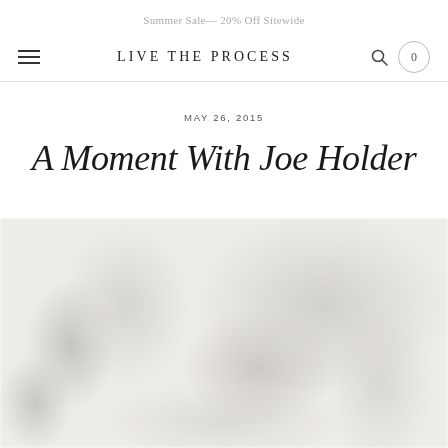Summer Sale— 20% Off Sitewide
LIVE THE PROCESS
MAY 26, 2015
A Moment With Joe Holder
[Figure (photo): A blurred/faded photograph occupying the lower half of the page, appearing to show a person in workout or athletic wear, rendered with low contrast and soft tones.]